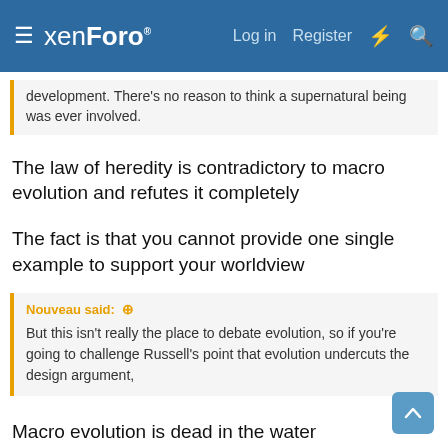xenForo  Log in  Register
development. There's no reason to think a supernatural being was ever involved.
The law of heredity is contradictory to macro evolution and refutes it completely
The fact is that you cannot provide one single example to support your worldview
Nouveau said: ↑
But this isn't really the place to debate evolution, so if you're going to challenge Russell's point that evolution undercuts the design argument,
Macro evolution is dead in the water
Since we are debating Russell and since his belief in evolution was foundational for his atheistic beliefs this is as good of place